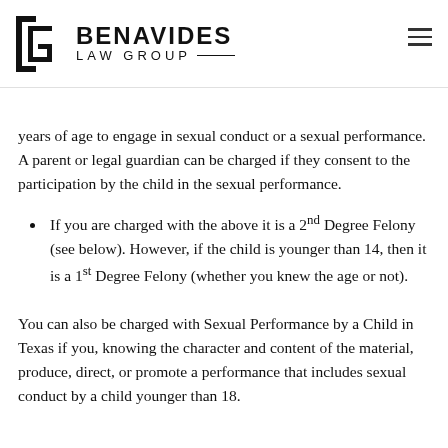BENAVIDES LAW GROUP
years of age to engage in sexual conduct or a sexual performance. A parent or legal guardian can be charged if they consent to the participation by the child in the sexual performance.
If you are charged with the above it is a 2nd Degree Felony (see below). However, if the child is younger than 14, then it is a 1st Degree Felony (whether you knew the age or not).
You can also be charged with Sexual Performance by a Child in Texas if you, knowing the character and content of the material, produce, direct, or promote a performance that includes sexual conduct by a child younger than 18.